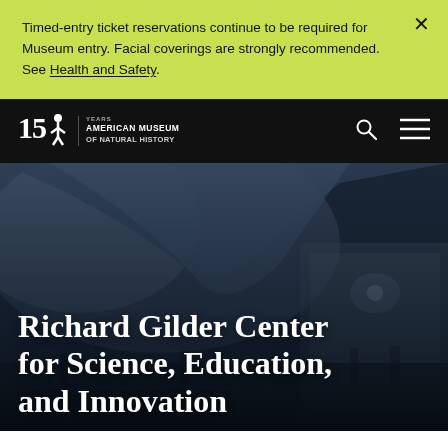Timed-entry ticket reservations continue to be required for Museum entry. Facial coverings are strongly recommended. See Health and Safety.
150 Years | American Museum of Natural History
[Figure (photo): Interior of the Richard Gilder Center for Science, Education, and Innovation at the American Museum of Natural History — visitors walking through a large hall with sweeping curved white ceiling shapes and warm overhead lighting, with museum exhibits visible in the background.]
Richard Gilder Center for Science, Education, and Innovation